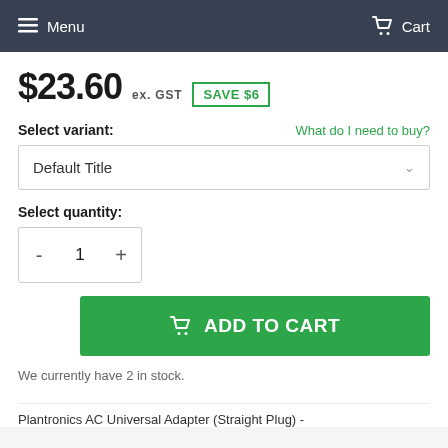Menu   Cart
$23.60 ex. GST  SAVE $6
Select variant:   What do I need to buy?
Default Title
Select quantity:
- 1 +
ADD TO CART
We currently have 2 in stock.
Plantronics AC Universal Adapter (Straight Plug) -